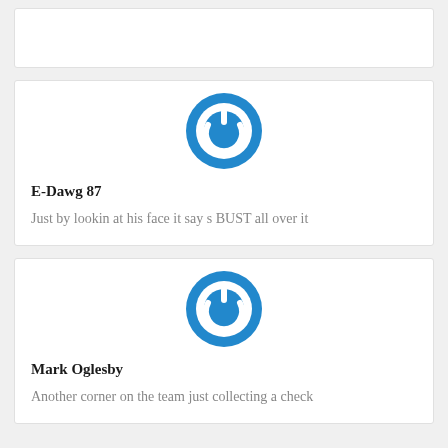[Figure (other): Partial card stub at top of page (cropped)]
[Figure (logo): Blue power button icon / avatar for E-Dawg 87]
E-Dawg 87
Just by lookin at his face it say s BUST all over it
[Figure (logo): Blue power button icon / avatar for Mark Oglesby]
Mark Oglesby
Another corner on the team just collecting a check